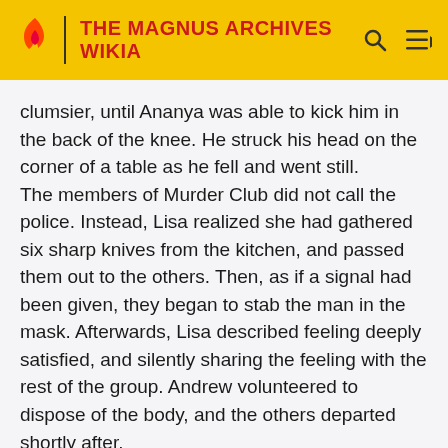THE MAGNUS ARCHIVES WIKIA
clumsier, until Ananya was able to kick him in the back of the knee. He struck his head on the corner of a table as he fell and went still.
The members of Murder Club did not call the police. Instead, Lisa realized she had gathered six sharp knives from the kitchen, and passed them out to the others. Then, as if a signal had been given, they began to stab the man in the mask. Afterwards, Lisa described feeling deeply satisfied, and silently sharing the feeling with the rest of the group. Andrew volunteered to dispose of the body, and the others departed shortly after.
Lisa's flatmate was horrified by the blood on the floor and her clothes the next morning, but she felt she was beyond